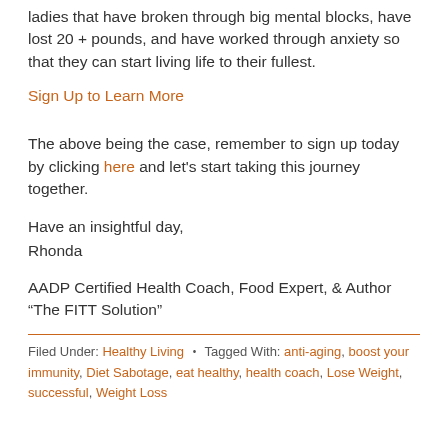ladies that have broken through big mental blocks, have lost 20 + pounds, and have worked through anxiety so that they can start living life to their fullest.
Sign Up to Learn More
The above being the case, remember to sign up today by clicking here and let's start taking this journey together.
Have an insightful day,
Rhonda
AADP Certified Health Coach, Food Expert, & Author
"The FITT Solution"
Filed Under: Healthy Living • Tagged With: anti-aging, boost your immunity, Diet Sabotage, eat healthy, health coach, Lose Weight, successful, Weight Loss